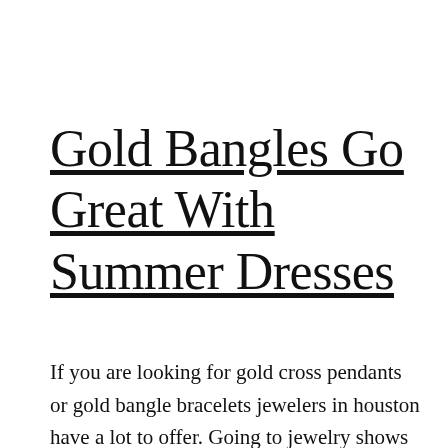Gold Bangles Go Great With Summer Dresses
If you are looking for gold cross pendants or gold bangle bracelets jewelers in houston have a lot to offer. Going to jewelry shows can sometimes be the best way to find unique pieces that you would